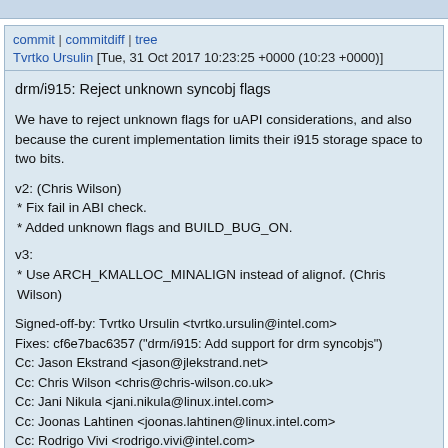commit | commitdiff | tree
Tvrtko Ursulin [Tue, 31 Oct 2017 10:23:25 +0000 (10:23 +0000)]
drm/i915: Reject unknown syncobj flags
We have to reject unknown flags for uAPI considerations, and also because the curent implementation limits their i915 storage space to two bits.
v2: (Chris Wilson)
 * Fix fail in ABI check.
 * Added unknown flags and BUILD_BUG_ON.
v3:
 * Use ARCH_KMALLOC_MINALIGN instead of alignof. (Chris Wilson)
Signed-off-by: Tvrtko Ursulin <tvrtko.ursulin@intel.com>
Fixes: cf6e7bac6357 ("drm/i915: Add support for drm syncobjs")
Cc: Jason Ekstrand <jason@jlekstrand.net>
Cc: Chris Wilson <chris@chris-wilson.co.uk>
Cc: Jani Nikula <jani.nikula@linux.intel.com>
Cc: Joonas Lahtinen <joonas.lahtinen@linux.intel.com>
Cc: Rodrigo Vivi <rodrigo.vivi@intel.com>
Cc: David Airlie <airlied@linux.ie>